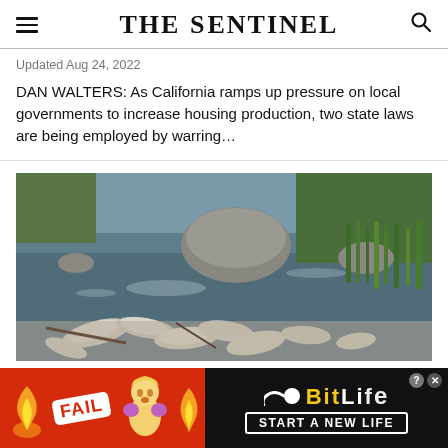The Sentinel
Updated Aug 24, 2022
DAN WALTERS: As California ramps up pressure on local governments to increase housing production, two state laws are being employed by warring...
[Figure (photo): Dead fish on the bank and in the shallow water of a river, with rocks and green reeds in the background.]
[Figure (other): BitLife advertisement banner with red background, FAIL badge, blonde cartoon character, fire emoji, and START A NEW LIFE tagline on black background.]